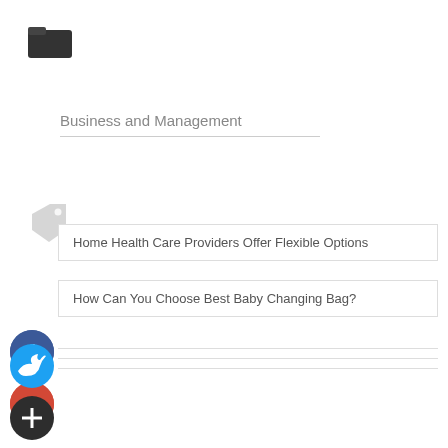[Figure (illustration): Folder icon, dark gray, open folder shape]
Business and Management
Home Health Care Providers Offer Flexible Options
How Can You Choose Best Baby Changing Bag?
[Figure (illustration): Facebook social share circle button, dark blue with white F]
[Figure (illustration): Google+ social share circle button, red with white G+]
[Figure (illustration): Twitter social share circle button, cyan with white bird]
[Figure (illustration): Add/plus social share circle button, dark with white plus]